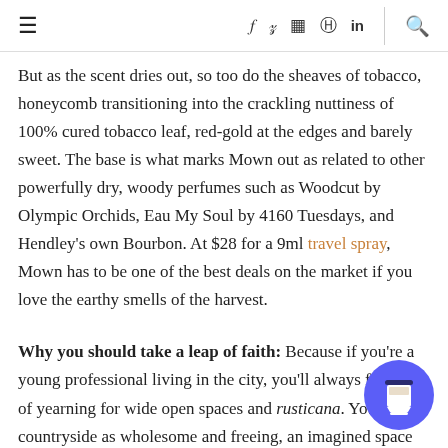≡  f  t  ☷  ⊕  in  |  ⌕
But as the scent dries out, so too do the sheaves of tobacco, honeycomb transitioning into the crackling nuttiness of 100% cured tobacco leaf, red-gold at the edges and barely sweet. The base is what marks Mown out as related to other powerfully dry, woody perfumes such as Woodcut by Olympic Orchids, Eau My Soul by 4160 Tuesdays, and Hendley's own Bourbon. At $28 for a 9ml travel spray, Mown has to be one of the best deals on the market if you love the earthy smells of the harvest.
Why you should take a leap of faith: Because if you're a young professional living in the city, you'll always feel a tug of yearning for wide open spaces and rusticana. You see the countryside as wholesome and freeing, an imagined space into